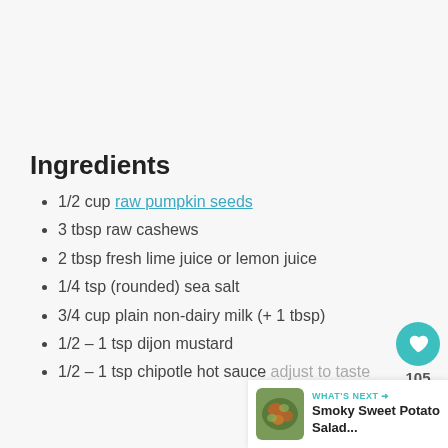Ingredients
1/2 cup raw pumpkin seeds
3 tbsp raw cashews
2 tbsp fresh lime juice or lemon juice
1/4 tsp (rounded) sea salt
3/4 cup plain non-dairy milk (+ 1 tbsp)
1/2 – 1 tsp dijon mustard
1/2 – 1 tsp chipotle hot sauce adjust to taste
[Figure (other): Heart/like button showing 105 likes, and a share button]
[Figure (other): What's Next card showing a photo of Smoky Sweet Potato Salad with teal arrow label]